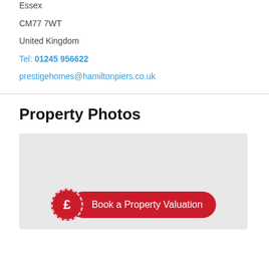Prestige Homes
Essex
CM77 7WT
United Kingdom
Tel: 01245 956622
prestigehomes@hamiltonpiers.co.uk
Property Photos
[Figure (illustration): Grey placeholder image area with a red circular pound sign icon and a red pill-shaped button reading 'Book a Property Valuation']